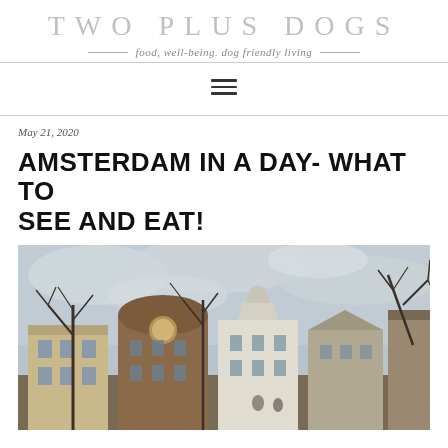TWO PLUS DOGS
food, well-being. dog friendly living
May 21, 2020
AMSTERDAM IN A DAY- WHAT TO SEE AND EAT!
[Figure (photo): Amsterdam canal houses and historic buildings with bare trees against an overcast sky]